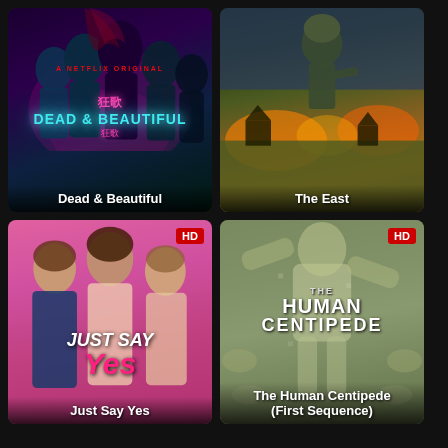[Figure (photo): Movie poster for Dead & Beautiful showing dark hooded figures with neon pink and teal colors, Netflix Original label]
[Figure (photo): Movie poster for The East showing a soldier against a burning village backdrop]
[Figure (photo): Movie poster for Just Say Yes showing three people posing on a pink background, HD badge]
[Figure (photo): Movie poster for The Human Centipede (First Sequence) showing silhouetted figures on a pale green background, HD badge]